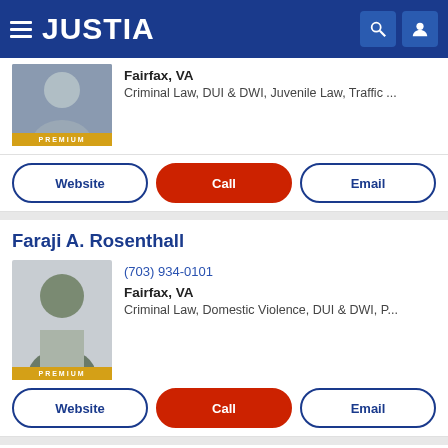JUSTIA
Fairfax, VA
Criminal Law, DUI & DWI, Juvenile Law, Traffic ...
Website | Call | Email
Faraji A. Rosenthall
(703) 934-0101
Fairfax, VA
Criminal Law, Domestic Violence, DUI & DWI, P...
Website | Call | Email
Matthew C. Perushek